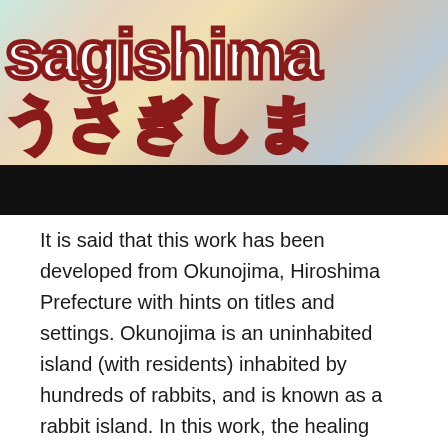[Figure (illustration): Colorful illustrated banner for 'Usagishima' (うさぎしま) showing cute cartoon rabbit and animal characters in pastel colors with the title text in bold outlined letters, followed by a black bar below.]
It is said that this work has been developed from Okunojima, Hiroshima Prefecture with hints on titles and settings. Okunojima is an uninhabited island (with residents) inhabited by hundreds of rabbits, and is known as a rabbit island. In this work, the healing surrounded by rabbits is likely to be a title that can be enjoyed as a game. It is also influenced by healing